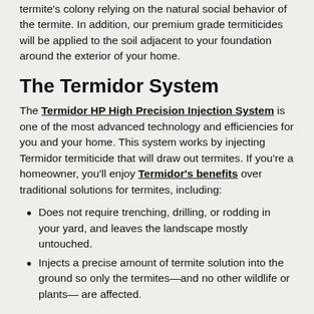termite's colony relying on the natural social behavior of the termite. In addition, our premium grade termiticides will be applied to the soil adjacent to your foundation around the exterior of your home.
The Termidor System
The Termidor HP High Precision Injection System is one of the most advanced technology and efficiencies for you and your home. This system works by injecting Termidor termiticide that will draw out termites. If you're a homeowner, you'll enjoy Termidor's benefits over traditional solutions for termites, including:
Does not require trenching, drilling, or rodding in your yard, and leaves the landscape mostly untouched.
Injects a precise amount of termite solution into the ground so only the termites—and no other wildlife or plants— are affected.